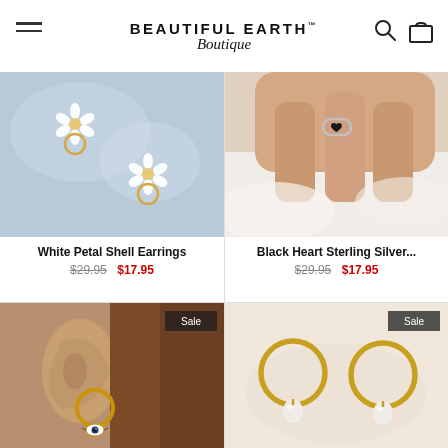BEAUTIFUL EARTH™ Boutique
[Figure (photo): White petal shell earrings on light blue background - two daisy-shaped earrings with gold details]
[Figure (photo): Black heart sterling silver ring on a woman's hand with white fabric background]
White Petal Shell Earrings
$29.95  $17.95
Black Heart Sterling Silver...
$29.95  $17.95
[Figure (photo): Woman's ear wearing a gold hoop earring with evil eye charm pendant, Sale badge visible]
[Figure (photo): Two gold hoop earrings with pearl drop charms on beige background, Sale badge visible]